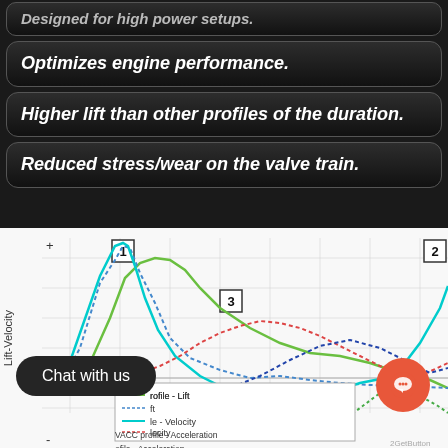Designed for high power setups.
Optimizes engine performance.
Higher lift than other profiles of the duration.
Reduced stress/wear on the valve train.
[Figure (continuous-plot): Lift-Velocity chart showing cam profile curves: green solid (VACC profile - Lift), blue dotted (Lift), cyan solid (profile - Velocity), red dotted (Velocity), blue solid dotted (profile - Acceleration), green dotted (VACC profile - Acceleration). Two numbered markers [1] and [2] at peaks, [3] label near secondary peak. Y-axis labeled Lift-Velocity. Legend visible at bottom left.]